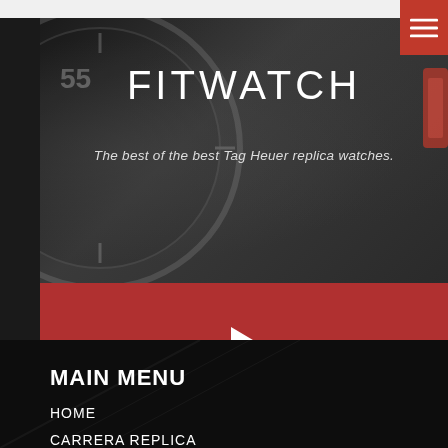FITWATCH
The best of the best Tag Heuer replica watches.
[Figure (screenshot): Video player area with red background and white play button triangle in center]
MAIN MENU
HOME
CARRERA REPLICA